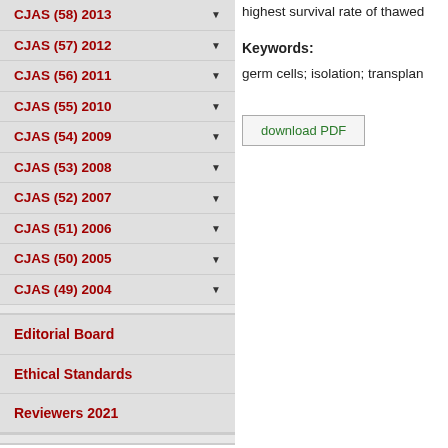CJAS (58) 2013 ▼
CJAS (57) 2012 ▼
CJAS (56) 2011 ▼
CJAS (55) 2010 ▼
CJAS (54) 2009 ▼
CJAS (53) 2008 ▼
CJAS (52) 2007 ▼
CJAS (51) 2006 ▼
CJAS (50) 2005 ▼
CJAS (49) 2004 ▼
Editorial Board
Ethical Standards
Reviewers 2021
For Authors
Authors' Declaration
highest survival rate of thawed
Keywords:
germ cells; isolation; transplan
download PDF